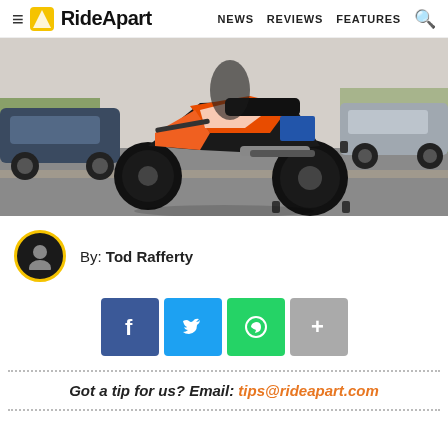RideApart — NEWS   REVIEWS   FEATURES
[Figure (photo): Orange and black adventure/dual-sport motorcycle (KTM style) photographed from the rear-side angle on a street, with cars visible in background. Knobby tires visible.]
By: Tod Rafferty
[Figure (infographic): Social sharing buttons: Facebook (blue), Twitter (light blue), WhatsApp (green), More/Plus (gray)]
Got a tip for us? Email: tips@rideapart.com